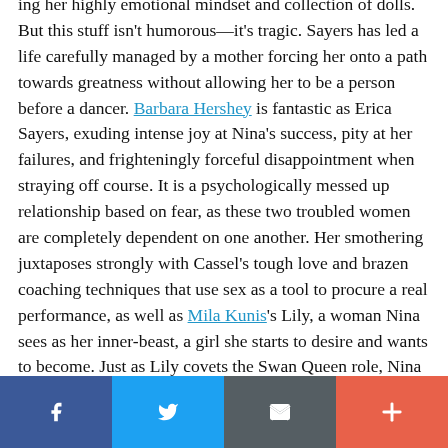ing her highly emotional mindset and collection of dolls. But this stuff isn't humorous—it's tragic. Sayers has led a life carefully managed by a mother forcing her onto a path towards greatness without allowing her to be a person before a dancer. Barbara Hershey is fantastic as Erica Sayers, exuding intense joy at Nina's success, pity at her failures, and frighteningly forceful disappointment when straying off course. It is a psychologically messed up relationship based on fear, as these two troubled women are completely dependent on one another. Her smothering juxtaposes strongly with Cassel's tough love and brazen coaching techniques that use sex as a tool to procure a real performance, as well as Mila Kunis's Lily, a woman Nina sees as her inner-beast, a girl she starts to desire and wants to become. Just as Lily covets the Swan Queen role, Nina wants her body as a vessel to exist away from the crushing, manufactured innocence of a woman that has never truly lived.
Facebook | Twitter | Email | More